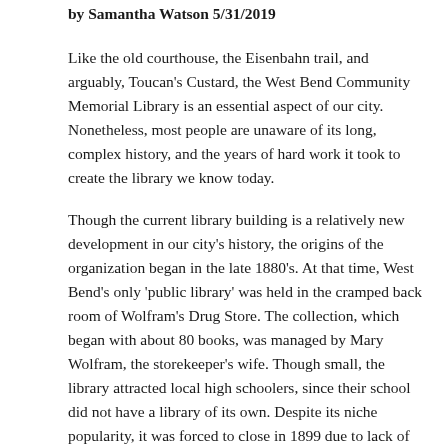by Samantha Watson 5/31/2019
Like the old courthouse, the Eisenbahn trail, and arguably, Toucan's Custard, the West Bend Community Memorial Library is an essential aspect of our city. Nonetheless, most people are unaware of its long, complex history, and the years of hard work it took to create the library we know today.
Though the current library building is a relatively new development in our city's history, the origins of the organization began in the late 1880's. At that time, West Bend's only 'public library' was held in the cramped back room of Wolfram's Drug Store. The collection, which began with about 80 books, was managed by Mary Wolfram, the storekeeper's wife. Though small, the library attracted local high schoolers, since their school did not have a library of its own. Despite its niche popularity, it was forced to close in 1899 due to lack of funds.